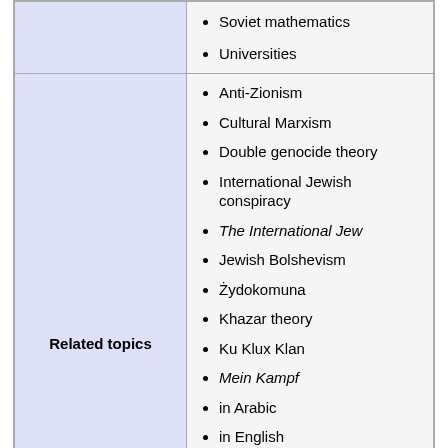|  |  |
| --- | --- |
|  | Soviet mathematics
Universities |
| Related topics | Anti-Zionism
Cultural Marxism
Double genocide theory
International Jewish conspiracy
The International Jew
Jewish Bolshevism
Żydokomuna
Khazar theory
Ku Klux Klan
Mein Kampf
in Arabic
in English
Persecution of Jews during the Blac
On the Jews and Their Lies
Philo-Semitism
The Protocols of the Elders of Zion |